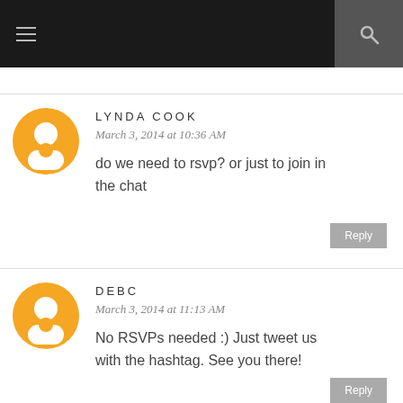≡  🔍
LYNDA COOK
March 3, 2014 at 10:36 AM
do we need to rsvp? or just to join in the chat
Reply
DEBC
March 3, 2014 at 11:13 AM
No RSVPs needed :) Just tweet us with the hashtag. See you there!
Reply